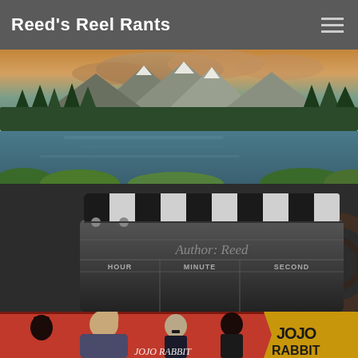Reed's Reel Rants
[Figure (photo): Scenic mountain lake landscape with pine trees, calm blue water, and snow-capped peaks under a dramatic cloudy sky]
[Figure (photo): Film clapperboard (slate) close-up with black and white stripes, showing HOUR MINUTE SECOND labels and 'Author: Reed' text overlaid]
[Figure (photo): Jojo Rabbit movie poster showing characters on a red background with the title 'JOJO RABBIT' in large yellow letters]